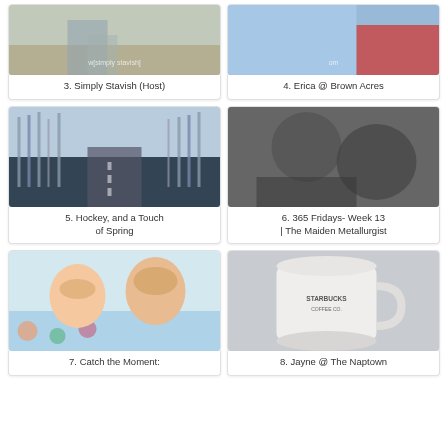[Figure (photo): Person sitting, partial view, outdoor setting with fence]
3. Simply Stavish (Host)
[Figure (photo): Close-up of blue and red object, possibly vehicle interior]
4. Erica @ Brown Acres
[Figure (photo): Winter road lined with bare trees and snow on the sides]
5. Hockey, and a Touch of Spring
[Figure (photo): Black and white photo of children, sibling interaction]
6. 365 Fridays- Week 13 | The Maiden Metallurgist
[Figure (photo): Two young children/babies lying together smiling on colorful blanket]
7. Catch the Moment:
[Figure (photo): Starbucks Coffee Co. white mug on a surface]
8. Jayne @ The Naptown